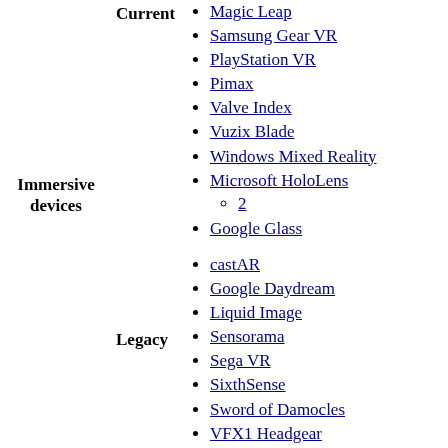Current
Immersive devices
Magic Leap
Samsung Gear VR
PlayStation VR
Pimax
Valve Index
Vuzix Blade
Windows Mixed Reality
Microsoft HoloLens
2
Google Glass
Legacy
castAR
Google Daydream
Liquid Image
Sensorama
Sega VR
SixthSense
Sword of Damocles
VFX1 Headgear
Virtual fixture
Virtuality
ARToolKit
ARCore
Interactive art